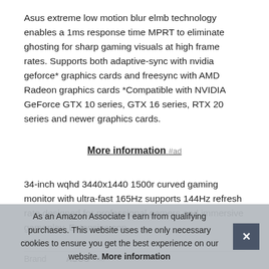Asus extreme low motion blur elmb technology enables a 1ms response time MPRT to eliminate ghosting for sharp gaming visuals at high frame rates. Supports both adaptive-sync with nvidia geforce* graphics cards and freesync with AMD Radeon graphics cards *Compatible with NVIDIA GeForce GTX 10 series, GTX 16 series, RTX 20 series and newer graphics cards.
More information #ad
34-inch wqhd 3440x1440 1500r curved gaming monitor with ultra-fast 165Hz supports 144Hz refresh rate designed for professional gamers and immersive gameplay. Extensive con port
As an Amazon Associate I earn from qualifying purchases. This website uses the only necessary cookies to ensure you get the best experience on our website. More information
| Brand | Value |
| --- | --- |
| Brand | ASUS #ad |